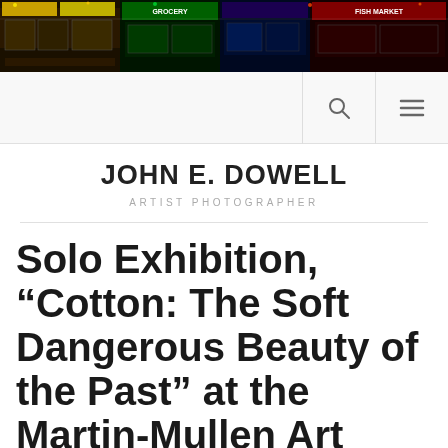[Figure (photo): Banner image showing a collage of colorful urban storefronts and markets at night, including signs for grocery, fish market, and other shops with bright neon and LED lighting.]
JOHN E. DOWELL
ARTIST PHOTOGRAPHER
Solo Exhibition, “Cotton: The Soft Dangerous Beauty of the Past” at the Martin-Mullen Art Gallery, SUNY Oneonta